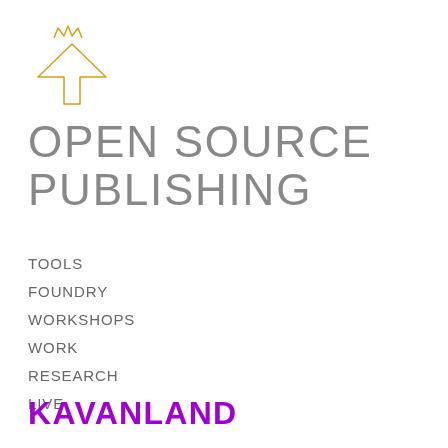[Figure (logo): Origami-style arrow/bird logo with a crown on top, outlined in golden/orange color]
OPEN SOURCE PUBLISHING
TOOLS
FOUNDRY
WORKSHOPS
WORK
RESEARCH
LIVE
BLOG
INFO
KAVANLAND